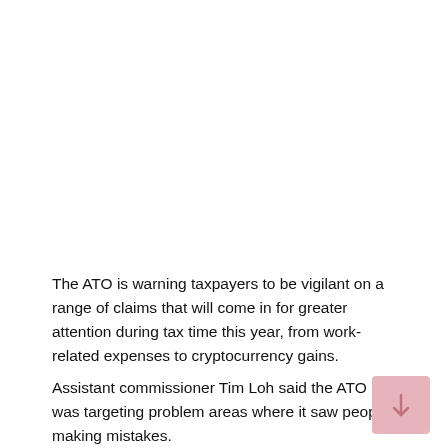The ATO is warning taxpayers to be vigilant on a range of claims that will come in for greater attention during tax time this year, from work-related expenses to cryptocurrency gains.
Assistant commissioner Tim Loh said the ATO was targeting problem areas where it saw people making mistakes.